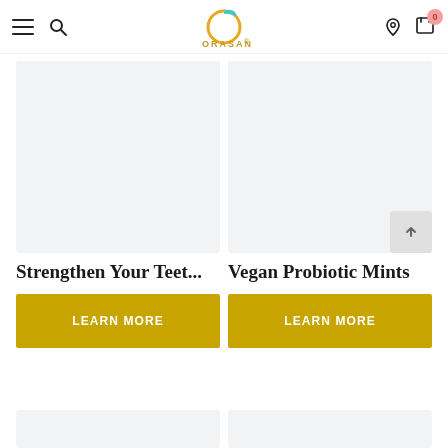ORASANA — navigation header with hamburger menu, search, logo, user icon, cart (0)
[Figure (photo): Product image placeholder left — light grey rectangle]
[Figure (photo): Product image placeholder right — light grey rectangle]
Strengthen Your Teet...
LEARN MORE
Vegan Probiotic Mints
LEARN MORE
[Figure (photo): Bottom product image placeholder left — light grey rectangle (partially visible)]
[Figure (photo): Bottom product image placeholder right — light grey rectangle (partially visible)]